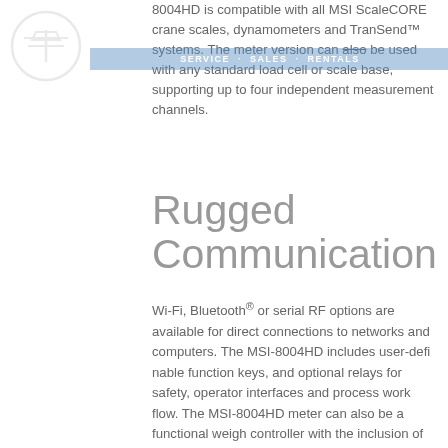8004HD is compatible with all MSI ScaleCORE crane scales, dynamometers and TranSend™ systems. The meter version can also be used with any standard load cell or scale base, supporting up to four independent measurement channels.
Rugged Communication
Wi-Fi, Bluetooth® or serial RF options are available for direct connections to networks and computers. The MSI-8004HD includes user-defi nable function keys, and optional relays for safety, operator interfaces and process work flow. The MSI-8004HD meter can also be a functional weigh controller with the inclusion of a precision, four-channel multi-deck 24-bit A/D.
More